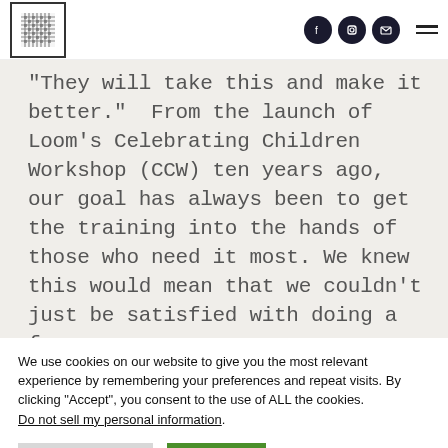[Figure (logo): Loom organization logo: a square border with a woven/grid texture icon inside]
[Figure (other): Navigation icons: Facebook circle, Instagram circle, email circle, and hamburger menu]
“They will take this and make it better.”  From the launch of Loom’s Celebrating Children Workshop (CCW) ten years ago, our goal has always been to get the training into the hands of those who need it most. We knew this would mean that we couldn’t just be satisfied with doing a few
We use cookies on our website to give you the most relevant experience by remembering your preferences and repeat visits. By clicking “Accept”, you consent to the use of ALL the cookies. Do not sell my personal information.